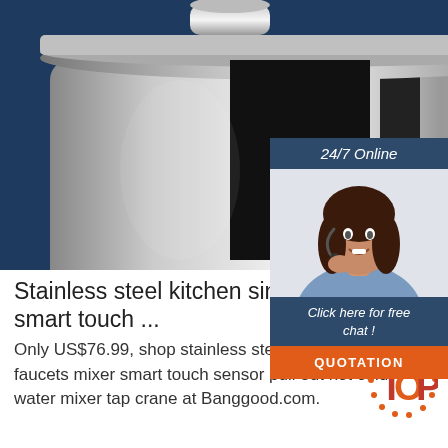[Figure (photo): Close-up product photo of a stainless steel kitchen sink faucet/pot on a dark navy blue background]
[Figure (infographic): 24/7 Online customer support chat widget with photo of a smiling woman with headset, dark blue header '24/7 Online', text 'Click here for free chat!', and orange QUOTATION button]
Stainless steel kitchen sink fau... mixer smart touch ...
Only US$76.99, shop stainless steel kitchen sink faucets mixer smart touch sensor pull out hot cold water mixer tap crane at Banggood.com. Best deals this...
[Figure (logo): TOP badge logo in orange/red dotted style]